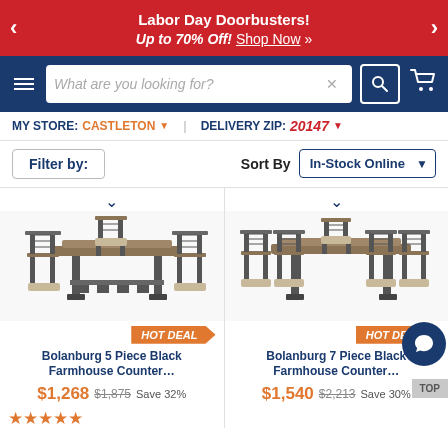Labor Day Doorbusters! Up to 70% Off! Shop Now »
[Figure (screenshot): Navigation bar with hamburger menu, search box 'What are you looking for?', search icon, and cart icon]
MY STORE: CASTLETON ▾   DELIVERY ZIP: 20147 ▾
Filter by:   Sort By   In-Stock Online ▼
[Figure (photo): Bolanburg 5 Piece Black Farmhouse Counter dining set product image with HOT DEAL badge]
Bolanburg 5 Piece Black Farmhouse Counter…
$1,268  $1,875  Save 32%  ★★★★★
[Figure (photo): Bolanburg 7 Piece Black Farmhouse Counter dining set product image with HOT DEAL badge]
Bolanburg 7 Piece Black Farmhouse Counter…
$1,540  $2,213  Save 30%